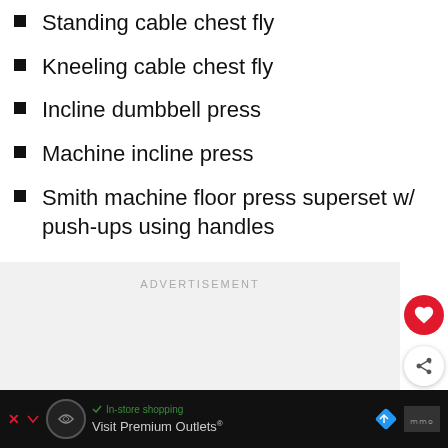Standing cable chest fly
Kneeling cable chest fly
Incline dumbbell press
Machine incline press
Smith machine floor press superset w/ push-ups using handles
ADVERTISEMENT
WHAT'S NEXT → 2022 Mr. Olympia...
In-store shopping
Visit Premium Outlets®